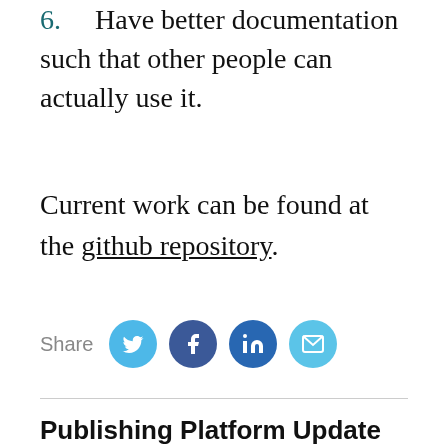6. Have better documentation such that other people can actually use it.
Current work can be found at the github repository.
[Figure (infographic): Share icons row: Share label followed by four circular social media icons: Twitter (light blue), Facebook (dark blue), LinkedIn (dark blue), Email (light blue)]
Publishing Platform Update